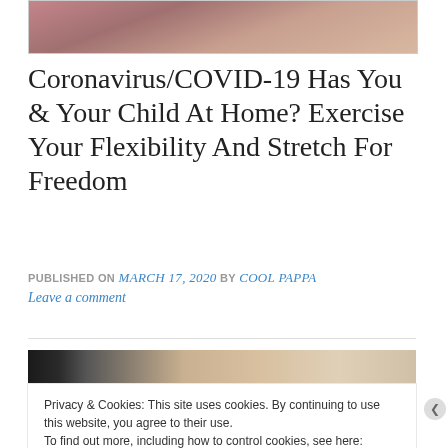[Figure (photo): Partial top photo strip showing a person, cropped at top of page]
Coronavirus/COVID-19 Has You & Your Child At Home? Exercise Your Flexibility And Stretch For Freedom
PUBLISHED ON March 17, 2020 by Cool Pappa
Leave a comment
[Figure (photo): Article image showing a dark device/book on a table with warm background lighting]
Privacy & Cookies: This site uses cookies. By continuing to use this website, you agree to their use.
To find out more, including how to control cookies, see here:
Cookie Policy
Close and accept